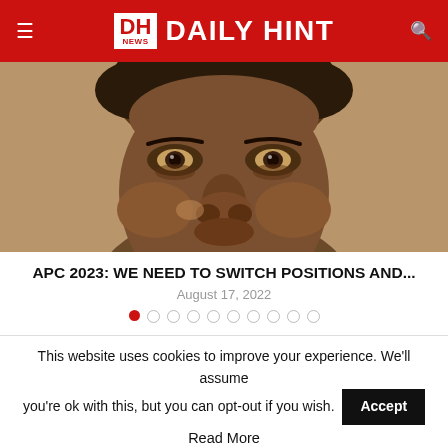DH NEWS DAILY HINT
[Figure (photo): Close-up portrait photograph of a man's face, cropped from forehead to chin]
APC 2023: WE NEED TO SWITCH POSITIONS AND...
August 17, 2022
This website uses cookies to improve your experience. We'll assume you're ok with this, but you can opt-out if you wish. Accept
Read More